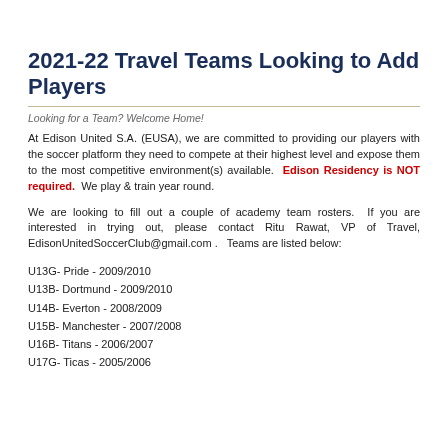2021-22 Travel Teams Looking to Add Players
Looking for a Team? Welcome Home!
At Edison United S.A. (EUSA), we are committed to providing our players with the soccer platform they need to compete at their highest level and expose them to the most competitive environment(s) available.  Edison Residency is NOT required.  We play & train year round.
We are looking to fill out a couple of academy team rosters.  If you are interested in trying out, please contact Ritu Rawat, VP of Travel, EdisonUnitedSoccerClub@gmail.com .   Teams are listed below:
U13G- Pride - 2009/2010
U13B- Dortmund - 2009/2010
U14B- Everton - 2008/2009
U15B- Manchester - 2007/2008
U16B- Titans - 2006/2007
U17G- Ticas - 2005/2006